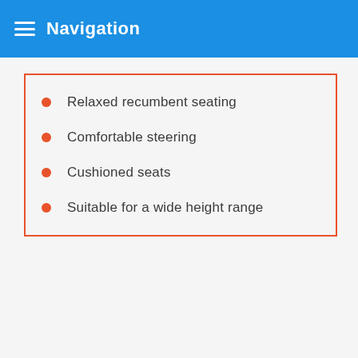Navigation
Relaxed recumbent seating
Comfortable steering
Cushioned seats
Suitable for a wide height range